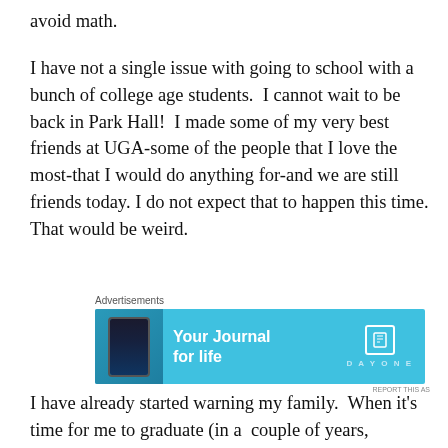avoid math.
I have not a single issue with going to school with a bunch of college age students.  I cannot wait to be back in Park Hall!  I made some of my very best friends at UGA-some of the people that I love the most-that I would do anything for-and we are still friends today. I do not expect that to happen this time. That would be weird.
[Figure (other): Advertisement banner for Day One journal app with cyan/blue background showing a phone and the text 'Your Journal for life' with the Day One logo]
I have already started warning my family.  When it's time for me to graduate (in a  couple of years, because,